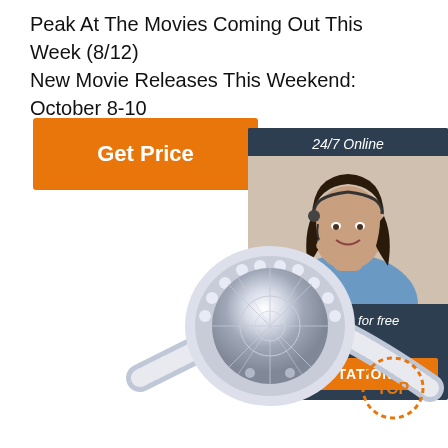Peak At The Movies Coming Out This Week (8/12)
New Movie Releases This Weekend: October 8-10
[Figure (other): Orange 'Get Price' button]
[Figure (other): Chat widget with '24/7 Online', agent photo of woman with headset, 'Click here for free chat!' text, and orange 'QUOTATION' button on dark navy background]
[Figure (photo): Close-up photo of a diamond engagement ring with large round brilliant-cut center stone and pavé-set diamonds on the band, silver/white gold setting]
[Figure (other): Circular 'TOP' badge with orange dotted border in bottom right corner]